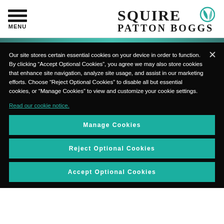MENU | SQUIRE PATTON BOGGS
Our site stores certain essential cookies on your device in order to function. By clicking “Accept Optional Cookies”, you agree we may also store cookies that enhance site navigation, analyze site usage, and assist in our marketing efforts. Choose “Reject Optional Cookies” to disable all but essential cookies, or “Manage Cookies” to view and customize your cookie settings.
Read our cookie notice.
Manage Cookies
Reject Optional Cookies
Accept Optional Cookies